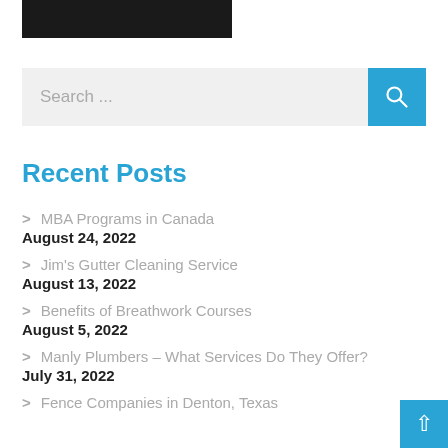[Figure (other): Black logo bar at top left]
Search ...
Recent Posts
MBA Programs in Canada
August 24, 2022
Jim's Gutter Cleaning Service
August 13, 2022
Benefits of Breathwork Courses
August 5, 2022
Manly Plumbers – What Services Do They Offer?
July 31, 2022
Fence Companies in Denton, Texas